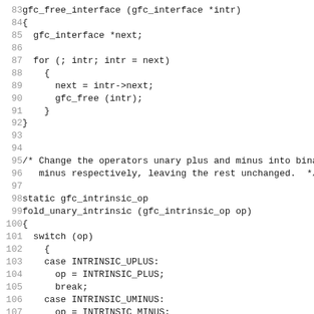[Figure (other): Source code listing in C showing gfc_free_interface and fold_unary_intrinsic functions, lines 83-114]